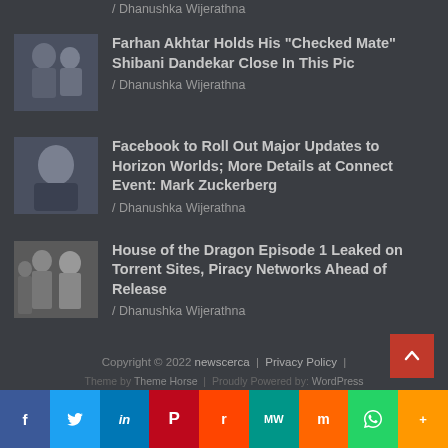/ Dhanushka Wijerathna
[Figure (photo): Thumbnail of Farhan Akhtar and Shibani Dandekar]
Farhan Akhtar Holds His "Checked Mate" Shibani Dandekar Close In This Pic
/ Dhanushka Wijerathna
[Figure (photo): Thumbnail of Mark Zuckerberg]
Facebook to Roll Out Major Updates to Horizon Worlds; More Details at Connect Event: Mark Zuckerberg
/ Dhanushka Wijerathna
[Figure (photo): Thumbnail of House of the Dragon characters]
House of the Dragon Episode 1 Leaked on Torrent Sites, Piracy Networks Ahead of Release
/ Dhanushka Wijerathna
Copyright © 2022 newscerca | Privacy Policy | Theme by Theme Horse | Proudly Powered by: WordPress
f tw in P r MW m W More